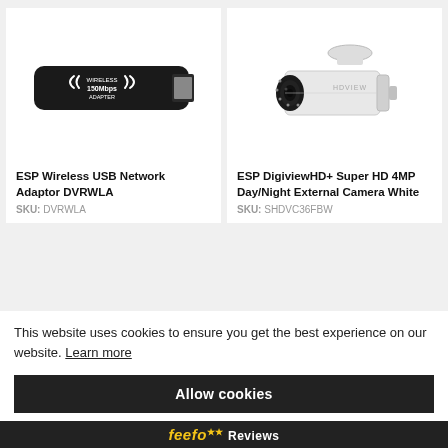[Figure (photo): Black wireless USB network adapter dongle, 150Mbps]
ESP Wireless USB Network Adaptor DVRWLA
SKU: DVRWLA
[Figure (photo): White bullet-style HD security camera (HDView brand), 4MP]
ESP DigiviewHD+ Super HD 4MP Day/Night External Camera White
SKU: SHDVC36FBW
This website uses cookies to ensure you get the best experience on our website. Learn more
Allow cookies